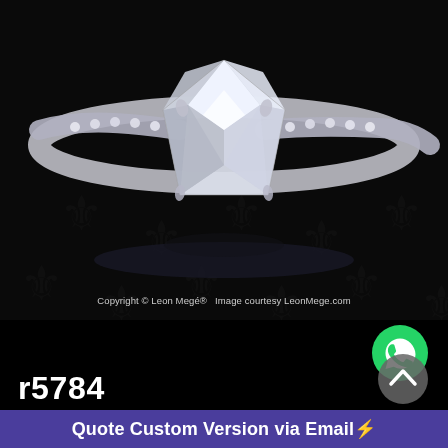[Figure (photo): Close-up professional photograph of a diamond engagement ring with a large cushion-cut center diamond and pavé-set diamonds along the band, on a dark black background with faint fleur-de-lis pattern.]
Copyright © Leon Megé®   Image courtesy LeonMege.com
[Figure (logo): WhatsApp icon — white phone/chat bubble icon on green circle background]
r5784
[Figure (other): Scroll-to-top button — upward chevron arrow on gray circle]
Quote Custom Version via Email⚡